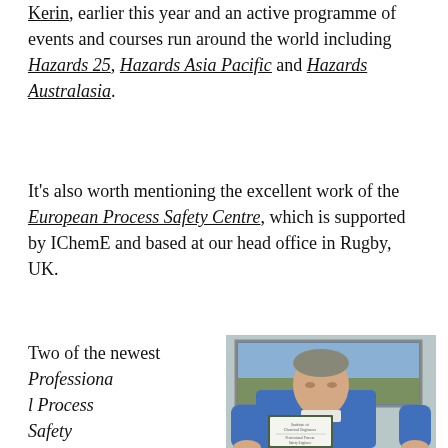Kerin, earlier this year and an active programme of events and courses run around the world including Hazards 25, Hazards Asia Pacific and Hazards Australasia.
It's also worth mentioning the excellent work of the European Process Safety Centre, which is supported by IChemE and based at our head office in Rugby, UK.
Two of the newest Professional Process Safety Engineers are Rod Prior, a consultant
[Figure (photo): A man in a blue sweater holding a framed Professional Process Safety Engineer certificate from the Institute of Chemical Engineers, standing in front of a framed landscape photograph on the wall.]